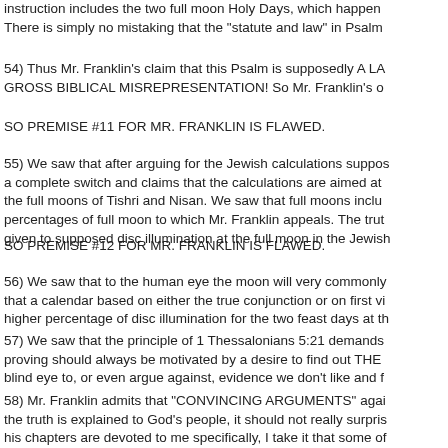instruction includes the two full moon Holy Days, which happen There is simply no mistaking that the "statute and law" in Psalm
54) Thus Mr. Franklin's claim that this Psalm is supposedly A LA GROSS BIBLICAL MISREPRESENTATION! So Mr. Franklin's o
SO PREMISE #11 FOR MR. FRANKLIN IS FLAWED.
55) We saw that after arguing for the Jewish calculations suppos a complete switch and claims that the calculations are aimed at the full moons of Tishri and Nisan. We saw that full moons inclu percentages of full moon to which Mr. Franklin appeals. The trut given to supposed disc illumination at the full moon in the Jewish
SO PREMISE #12 FOR MR. FRANKLIN IS FLAWED.
56) We saw that to the human eye the moon will very commonly that a calendar based on either the true conjunction or on first vi higher percentage of disc illumination for the two feast days at th
57) We saw that the principle of 1 Thessalonians 5:21 demands proving should always be motivated by a desire to find out THE blind eye to, or even argue against, evidence we don't like and f
58) Mr. Franklin admits that "CONVINCING ARGUMENTS" agai the truth is explained to God's people, it should not really surpris his chapters are devoted to me specifically, I take it that some of